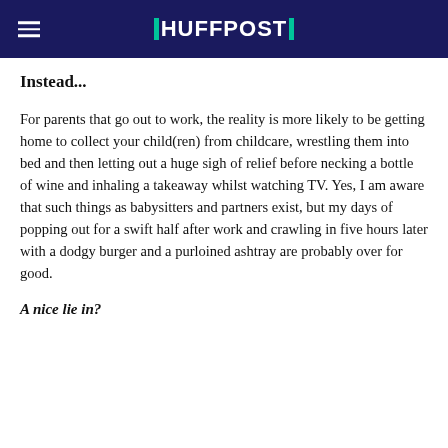HUFFPOST
Instead...
For parents that go out to work, the reality is more likely to be getting home to collect your child(ren) from childcare, wrestling them into bed and then letting out a huge sigh of relief before necking a bottle of wine and inhaling a takeaway whilst watching TV. Yes, I am aware that such things as babysitters and partners exist, but my days of popping out for a swift half after work and crawling in five hours later with a dodgy burger and a purloined ashtray are probably over for good.
A nice lie in?